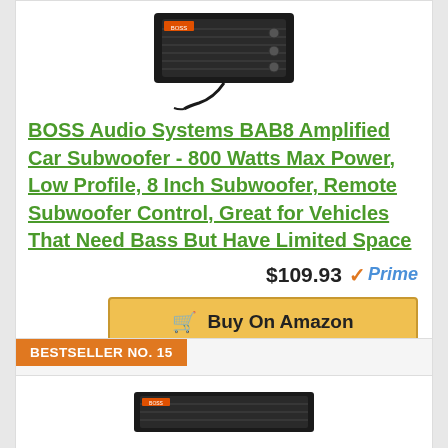[Figure (photo): Photo of BOSS Audio Systems BAB8 amplified car subwoofer with power cable]
BOSS Audio Systems BAB8 Amplified Car Subwoofer - 800 Watts Max Power, Low Profile, 8 Inch Subwoofer, Remote Subwoofer Control, Great for Vehicles That Need Bass But Have Limited Space
$109.93 Prime
Buy On Amazon
BESTSELLER NO. 15
[Figure (photo): Partial photo of another car audio product at bottom of page]